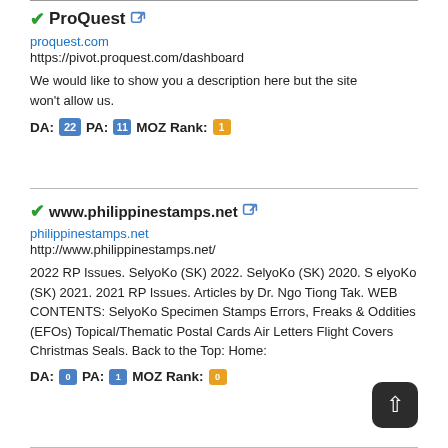✓ProQuest 🔗
proquest.com
https://pivot.proquest.com/dashboard
We would like to show you a description here but the site won't allow us.
DA: 22  PA: 11  MOZ Rank: 1
✓www.philippinestamps.net 🔗
philippinestamps.net
http://www.philippinestamps.net/
2022 RP Issues. SelyoKo (SK) 2022. SelyoKo (SK) 2020. SelyoKo (SK) 2021. 2021 RP Issues. Articles by Dr. Ngo Tiong Tak. WEB CONTENTS: SelyoKo Specimen Stamps Errors, Freaks & Oddities (EFOs) Topical/Thematic Postal Cards Air Letters Flight Covers Christmas Seals. Back to the Top: Home:
DA: 0  PA: 1  MOZ Rank: 0